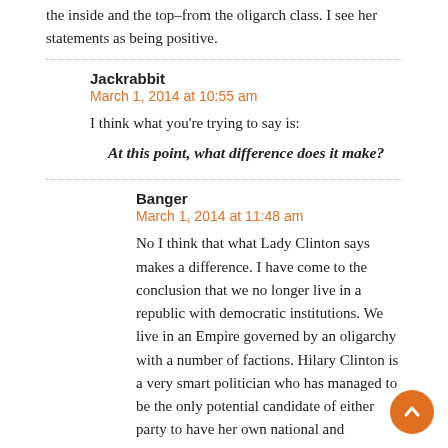the inside and the top–from the oligarch class. I see her statements as being positive.
Jackrabbit
March 1, 2014 at 10:55 am

I think what you're trying to say is:

At this point, what difference does it make?
Banger
March 1, 2014 at 11:48 am

No I think that what Lady Clinton says makes a difference. I have come to the conclusion that we no longer live in a republic with democratic institutions. We live in an Empire governed by an oligarchy with a number of factions. Hilary Clinton is a very smart politician who has managed to be the only potential candidate of either party to have her own national and international power-base based on a realpolitik view of the world and thus has the ability play factions against each other. What her ultimate goals are for good or ill I don't know.